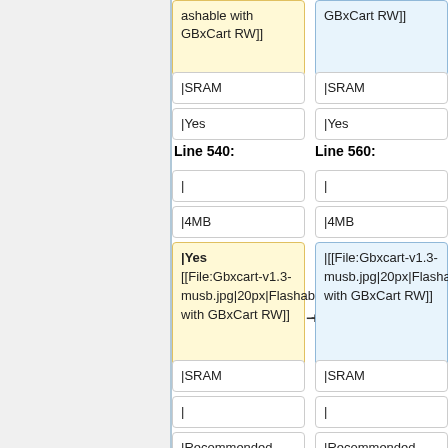ashable with GBxCart RW]]
GBxCart RW]]
|SRAM
|SRAM
|Yes
|Yes
Line 540:
Line 560:
|
|
|4MB
|4MB
|Yes [[File:Gbxcart-v1.3-musb.jpg|20px|Flashable with GBxCart RW]]
|[[File:Gbxcart-v1.3-musb.jpg|20px|Flashable with GBxCart RW]]
|SRAM
|SRAM
|
|
|Recommended
|Recommended